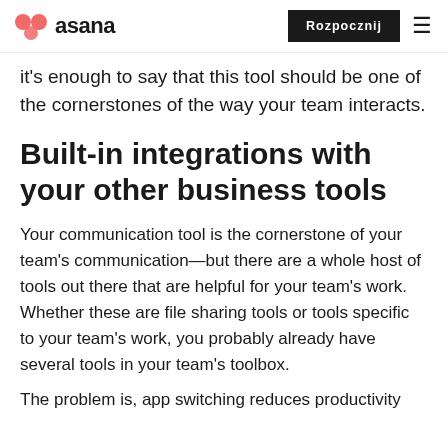asana | Rozpocznij
it's enough to say that this tool should be one of the cornerstones of the way your team interacts.
Built-in integrations with your other business tools
Your communication tool is the cornerstone of your team's communication—but there are a whole host of tools out there that are helpful for your team's work. Whether these are file sharing tools or tools specific to your team's work, you probably already have several tools in your team's toolbox.
The problem is, app switching reduces productivity